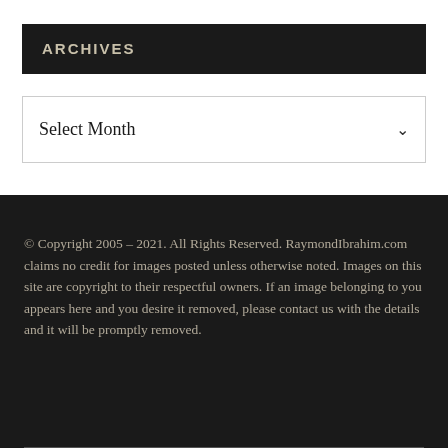ARCHIVES
[Figure (screenshot): A dropdown select box with 'Select Month' placeholder text and a chevron arrow on the right]
© Copyright 2005 – 2021. All Rights Reserved. RaymondIbrahim.com claims no credit for images posted unless otherwise noted. Images on this site are copyright to their respectful owners. If an image belonging to you appears here and you desire it removed, please contact us with the details and it will be promptly removed.